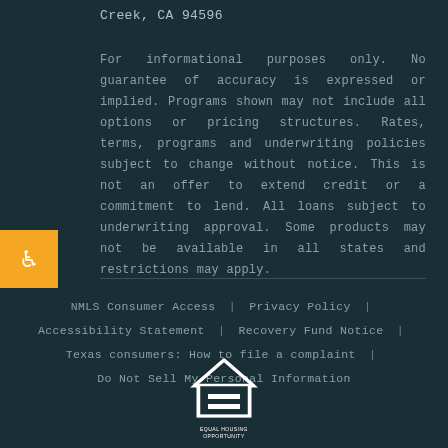Creek, CA 94596
For informational purposes only. No guarantee of accuracy is expressed or implied. Programs shown may not include all options or pricing structures. Rates, terms, programs and underwriting policies subject to change without notice. This is not an offer to extend credit or a commitment to lend. All loans subject to underwriting approval. Some products may not be available in all states and restrictions may apply.
NMLS Consumer Access | Privacy Policy | Accessibility Statement | Recovery Fund Notice | Texas consumers: How to file a complaint | Do Not Sell My Personal Information